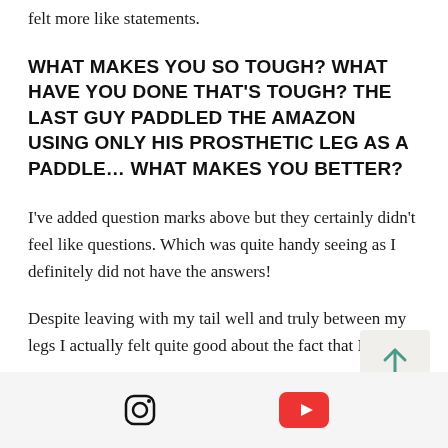felt more like statements.
WHAT MAKES YOU SO TOUGH? WHAT HAVE YOU DONE THAT'S TOUGH? THE LAST GUY PADDLED THE AMAZON USING ONLY HIS PROSTHETIC LEG AS A PADDLE… WHAT MAKES YOU BETTER?
I've added question marks above but they certainly didn't feel like questions. Which was quite handy seeing as I definitely did not have the answers!
Despite leaving with my tail well and truly between my legs I actually felt quite good about the fact that I had, if
[Figure (other): Scroll to top button with upward arrow on light grey background]
Instagram icon and YouTube icon in a light grey footer bar